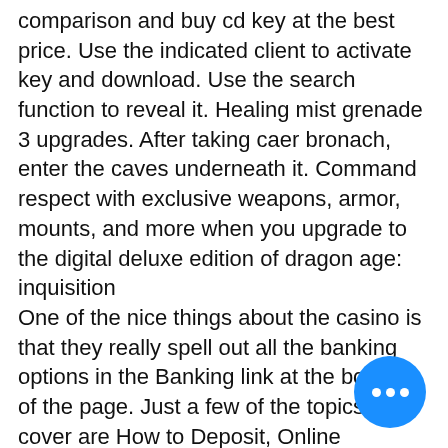comparison and buy cd key at the best price. Use the indicated client to activate key and download. Use the search function to reveal it. Healing mist grenade 3 upgrades. After taking caer bronach, enter the caves underneath it. Command respect with exclusive weapons, armor, mounts, and more when you upgrade to the digital deluxe edition of dragon age: inquisition One of the nice things about the casino is that they really spell out all the banking options in the Banking link at the bottom of the page. Just a few of the topics they cover are How to Deposit, Online Depositing Options , and Withdrawing Winnings. There is even a topic on their Security Policy , which shows why the site is totally safe and secure. Black Lotus Casino Games, dragon age: inquisition upgrades how to use. The selection of games offered through the gaming library is exceptional.
[Figure (other): Blue circular button with three white dots (ellipsis menu button)]